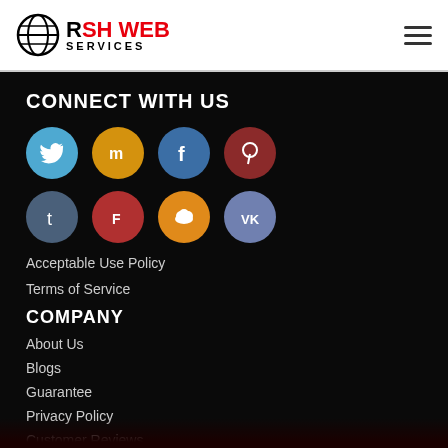RSH WEB SERVICES
CONNECT WITH US
[Figure (illustration): Eight social media icons in two rows: Twitter, Mix, Facebook, Pinterest (row 1); Tumblr, Foursquare, Cloud, VK (row 2)]
Acceptable Use Policy
Terms of Service
COMPANY
About Us
Blogs
Guarantee
Privacy Policy
Customer Reviews